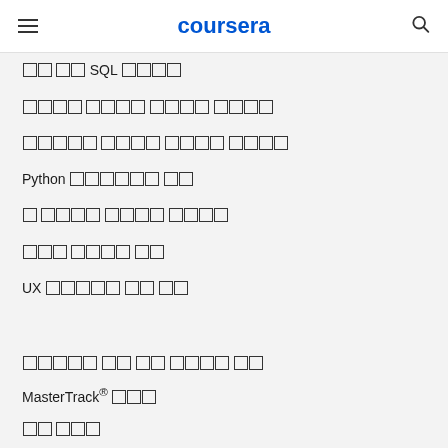coursera
데이터 분석 SQL 심화과정
딥러닝 전문화 과정 시작하기
구글에서 배우는 프로젝트 관리
Python 통계학으로 시작
첫 번째 프로그램 만들기위한 안내
파이썬 개발자 되기
UX 디자인으로 시작 하기
전문화 과정 및 인증 학위 취득
MasterTrack® 인증서
학사 학위
석사 학위